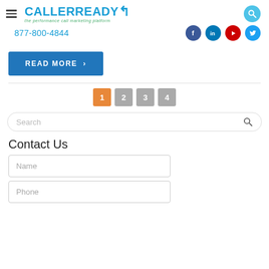CALLERREADY — the performance call marketing platform | 877-800-4844
[Figure (logo): CallerReady logo with tagline 'the performance call marketing platform']
877-800-4844
READ MORE ›
1  2  3  4 (pagination)
Search
Contact Us
Name
Phone